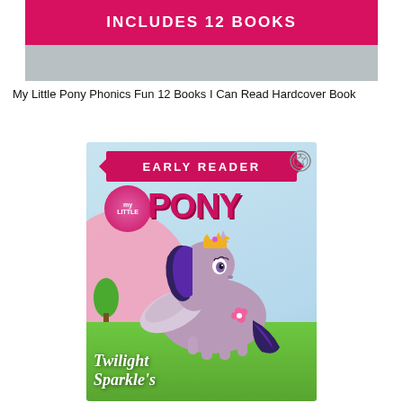[Figure (photo): Top portion of a product image showing a pink banner with text 'INCLUDES 12 BOOKS' on a light background]
My Little Pony Phonics Fun 12 Books I Can Read Hardcover Book
[Figure (photo): My Little Pony Early Reader book cover featuring Twilight Sparkle, a purple pony with wings and a crown, against a light blue background with pink decorative elements and green ground. Title reads 'Twilight Sparkle's' at the bottom. Pink ribbon banner at top reads 'EARLY READER'. My Little Pony logo shown in pink letters.]